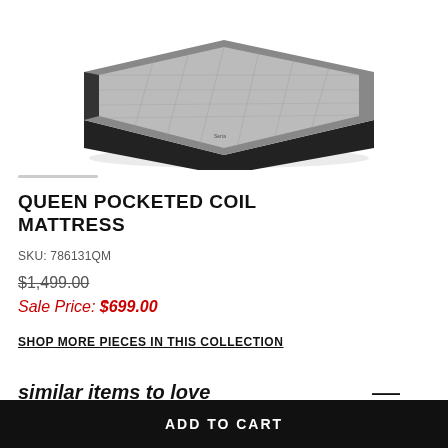[Figure (photo): Product photo of a queen pocketed coil mattress with dark charcoal/black border and quilted gray top surface, shown at an angle from above]
QUEEN POCKETED COIL MATTRESS
SKU: 786131QM
$1,499.00
Sale Price: $699.00
SHOP MORE PIECES IN THIS COLLECTION
similar items to love
ADD TO CART